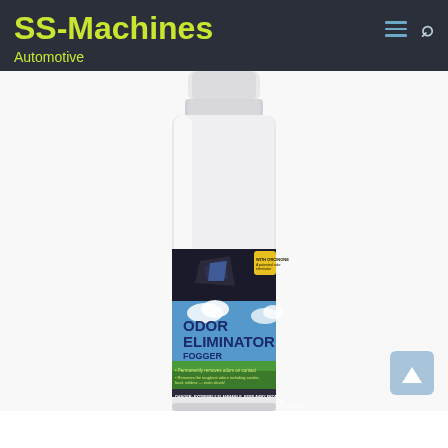SS-Machines
Automotive
[Figure (photo): Eagle One Odor Eliminator Fogger spray can - Fresh & Clean scent, NET WEIGHT 1.5 OZ (42.5g). White aerosol can with blue sky and green grass label design. Features ORCINONE odor eliminator. Removes odors on contact, handles toughest odors including smoke, food, mildew. Warning: Extremely Flammable.]